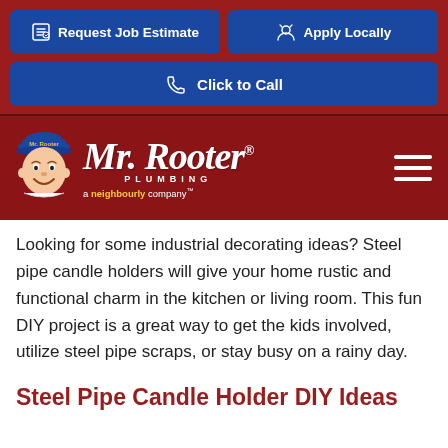[Figure (screenshot): Mr. Rooter Plumbing website navigation header with red background, two blue buttons: 'Request Job Estimate' and 'Apply Locally', and a 'Click to Call' button below]
[Figure (logo): Mr. Rooter Plumbing logo with mascot character wearing blue hat, script text 'Mr. Rooter Plumbing' and 'a neighbourly company' tagline on dark red background, with hamburger menu icon]
Looking for some industrial decorating ideas? Steel pipe candle holders will give your home rustic and functional charm in the kitchen or living room. This fun DIY project is a great way to get the kids involved, utilize steel pipe scraps, or stay busy on a rainy day.
Steel Pipe Candle Holder DIY Ideas